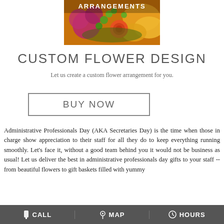[Figure (photo): Colorful flower arrangement photo with roses, chrysanthemums, and green accents, with 'ARRANGEMENTS' text overlaid in white bold letters on top.]
CUSTOM FLOWER DESIGN
Let us create a custom flower arrangement for you.
BUY NOW
Administrative Professionals Day (AKA Secretaries Day) is the time when those in charge show appreciation to their staff for all they do to keep everything running smoothly. Let's face it, without a good team behind you it would not be business as usual! Let us deliver the best in administrative professionals day gifts to your staff -- from beautiful flowers to gift baskets filled with yummy
CALL   MAP   HOURS